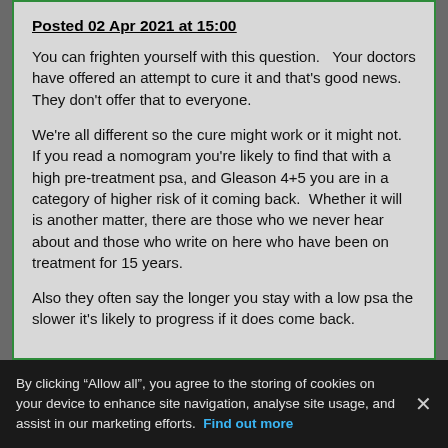Posted 02 Apr 2021 at 15:00
You can frighten yourself with this question.   Your doctors have offered an attempt to cure it and that's good news.  They don't offer that to everyone.
We're all different so the cure might work or it might not.   If you read a nomogram you're likely to find that with a high pre-treatment psa, and Gleason 4+5 you are in a category of higher risk of it coming back.  Whether it will is another matter, there are those who we never hear about and those who write on here who have been on treatment for 15 years.
Also they often say the longer you stay with a low psa the slower it's likely to progress if it does come back.
By clicking “Allow all”, you agree to the storing of cookies on your device to enhance site navigation, analyse site usage, and assist in our marketing efforts. Find out more